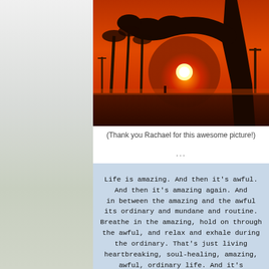[Figure (photo): Sunset photo with silhouettes of palm trees and a large tree in the foreground, bright orange and red sky with the sun visible through the tree branches]
(Thank you Rachael for this awesome picture!)
...
[Figure (photo): Typewritten quote on light blue paper: Life is amazing. And then it's awful. And then it's amazing again. And in between the amazing and the awful its ordinary and mundane and routine. Breathe in the amazing, hold on through the awful, and relax and exhale during the ordinary. That's just living heartbreaking, soul-healing, amazing, awful, ordinary life. And it's]